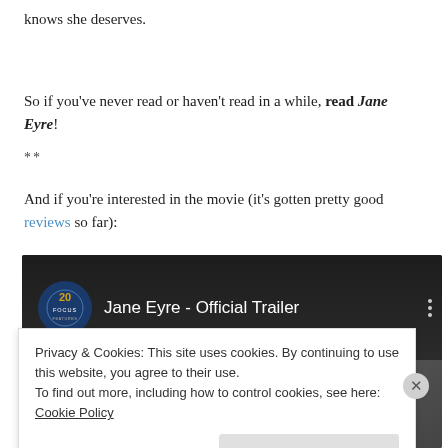knows she deserves.
So if you've never read or haven't read in a while, read Jane Eyre!
**
And if you're interested in the movie (it's gotten pretty good reviews so far):
[Figure (screenshot): Jane Eyre Official Trailer video embed with 20 Focus Features logo on dark background]
Privacy & Cookies: This site uses cookies. By continuing to use this website, you agree to their use. To find out more, including how to control cookies, see here: Cookie Policy
Close and accept